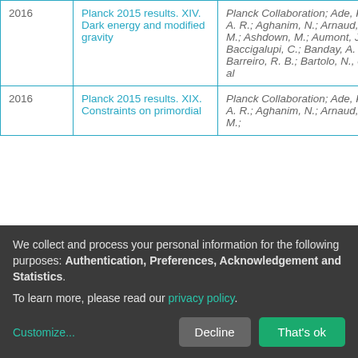| Year | Title | Authors | Access |
| --- | --- | --- | --- |
| 2016 | Planck 2015 results. XIV. Dark energy and modified gravity | Planck Collaboration; Ade, P. A. R.; Aghanim, N.; Arnaud, M.; Ashdown, M.; Aumont, J.; Baccigalupi, C.; Banday, A. J.; Barreiro, R. B.; Bartolo, N., et al | open |
| 2016 | Planck 2015 results. XIX. Constraints on primordial | Planck Collaboration; Ade, P. A. R.; Aghanim, N.; Arnaud, M.; | open |
We collect and process your personal information for the following purposes: Authentication, Preferences, Acknowledgement and Statistics. To learn more, please read our privacy policy.